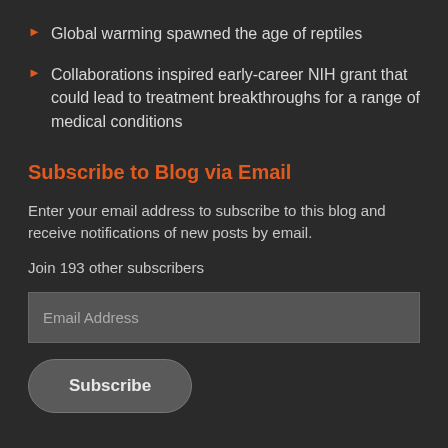Global warming spawned the age of reptiles
Collaborations inspired early-career NIH grant that could lead to treatment breakthroughs for a range of medical conditions
Subscribe to Blog via Email
Enter your email address to subscribe to this blog and receive notifications of new posts by email.
Join 193 other subscribers
Email Address
Subscribe